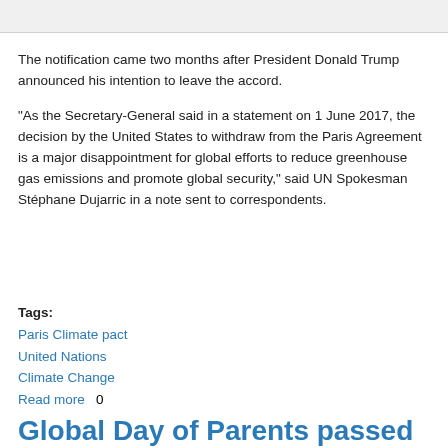The notification came two months after President Donald Trump announced his intention to leave the accord.
“As the Secretary-General said in a statement on 1 June 2017, the decision by the United States to withdraw from the Paris Agreement is a major disappointment for global efforts to reduce greenhouse gas emissions and promote global security,” said UN Spokesman Stéphane Dujarric in a note sent to correspondents.
Tags: Paris Climate pact United Nations Climate Change Read more 0
Global Day of Parents passed